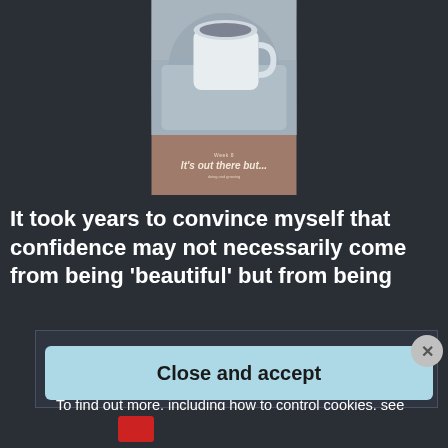[Figure (photo): Book cover image showing a cup of tea/coffee on a knitted blanket, with title 'It's out there but...' on a brown background]
It took years to convince myself that confidence may not necessarily come from being 'beautiful' but from being
Privacy & Cookies: This site uses cookies. By continuing to use this website, you agree to their use.
To find out more, including how to control cookies, see here: Cookie Policy
Close and accept